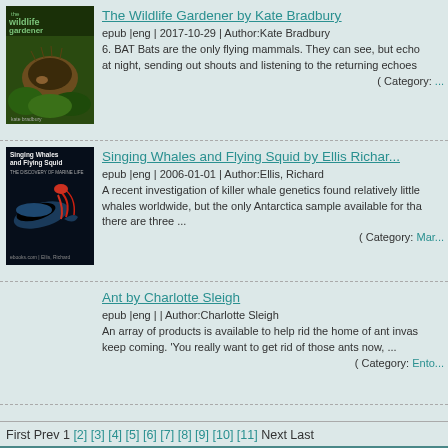The Wildlife Gardener by Kate Bradbury
epub |eng | 2017-10-29 | Author:Kate Bradbury
6. BAT Bats are the only flying mammals. They can see, but echo at night, sending out shouts and listening to the returning echoes ( Category:
[Figure (photo): Book cover of The Wildlife Gardener showing hedgehog in garden]
Singing Whales and Flying Squid by Ellis Richard
epub |eng | 2006-01-01 | Author:Ellis, Richard
A recent investigation of killer whale genetics found relatively little whales worldwide, but the only Antarctica sample available for tha there are three ... ( Category: Mar
[Figure (photo): Book cover of Singing Whales and Flying Squid showing whale and squid]
Ant by Charlotte Sleigh
epub |eng | | Author:Charlotte Sleigh
An array of products is available to help rid the home of ant invas keep coming. 'You really want to get rid of those ants now, ... ( Category: Ento
First Prev 1 [2] [3] [4] [5] [6] [7] [8] [9] [10] [11] Next Last
TOP   DMCA Information   Privacy Policy